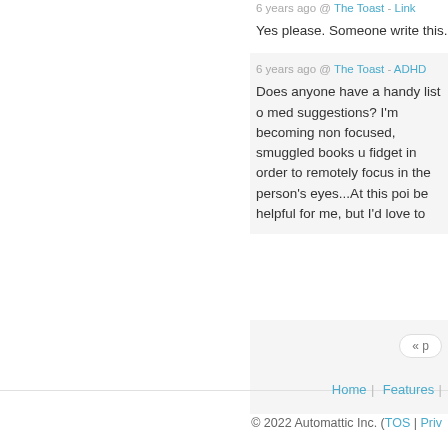6 years ago @ The Toast - Link
Yes please. Someone write this.
6 years ago @ The Toast - ADHD
Does anyone have a handy list of med suggestions? I'm becoming non focused, smuggled books un fidget in order to remotely focus in the person's eyes...At this point be helpful for me, but I'd love to k
« p
Home | Features |
© 2022 Automattic Inc. (TOS | Priv